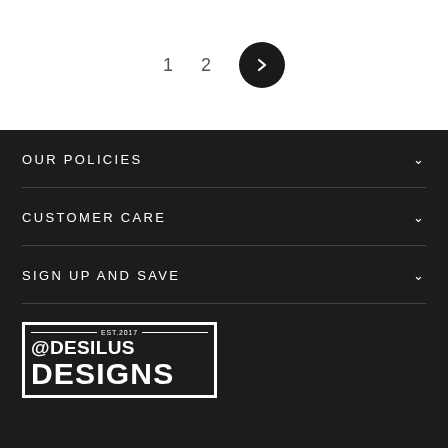[Figure (other): Pagination controls showing page numbers 1, 2 and a right arrow button in a dark circle]
OUR POLICIES
CUSTOMER CARE
SIGN UP AND SAVE
[Figure (logo): Desilus Designs logo with EST.2017 at top, @DESILUS above DESIGNS in bold block letters, all in white on dark background inside a rectangular border]